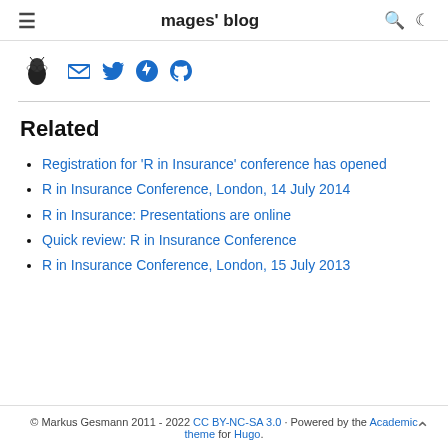mages' blog
[Figure (illustration): Blog author avatar image and social icons (email, Twitter, Google+, GitHub)]
Related
Registration for 'R in Insurance' conference has opened
R in Insurance Conference, London, 14 July 2014
R in Insurance: Presentations are online
Quick review: R in Insurance Conference
R in Insurance Conference, London, 15 July 2013
© Markus Gesmann 2011 - 2022 CC BY-NC-SA 3.0 · Powered by the Academic theme for Hugo.